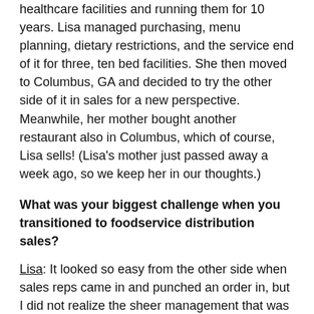healthcare facilities and running them for 10 years. Lisa managed purchasing, menu planning, dietary restrictions, and the service end of it for three, ten bed facilities. She then moved to Columbus, GA and decided to try the other side of it in sales for a new perspective. Meanwhile, her mother bought another restaurant also in Columbus, which of course, Lisa sells! (Lisa's mother just passed away a week ago, so we keep her in our thoughts.)
What was your biggest challenge when you transitioned to foodservice distribution sales?
Lisa: It looked so easy from the other side when sales reps came in and punched an order in, but I did not realize the sheer management that was required for each and every account, and what the expectation of the broadline distributor was for the requirements to take care of an account.
I had food knowledge, cooking skills, and creative ideas and skills to